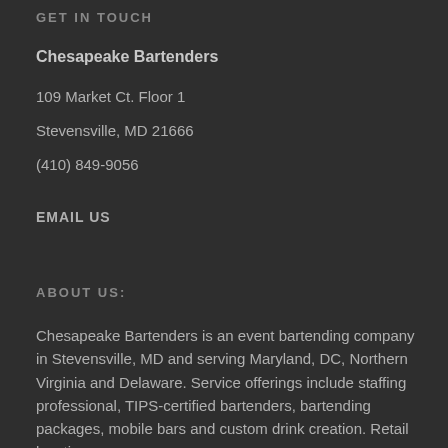GET IN TOUCH
Chesapeake Bartenders
109 Market Ct. Floor 1
Stevensville, MD 21666
(410) 849-9056
EMAIL US
ABOUT US:
Chesapeake Bartenders is an event bartending company in Stevensville, MD and serving Maryland, DC, Northern Virginia and Delaware. Service offerings include staffing professional, TIPS-certified bartenders, bartending packages, mobile bars and custom drink creation. Retail location